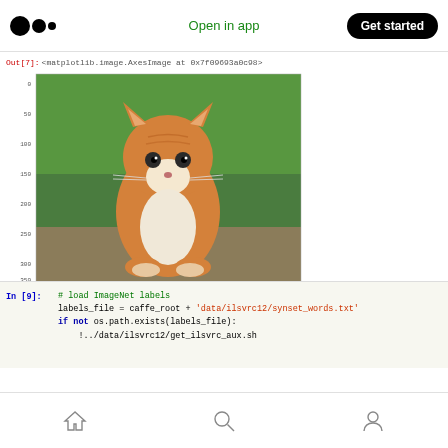Open in app | Get started
Out[7]: <matplotlib.image.AxesImage at 0x7f09693a0c98>
[Figure (screenshot): Jupyter notebook cell output showing a matplotlib plot of a kitten (orange tabby cat) with pixel axis labels: y-axis 0,50,100,150,200,250,300,350,400,450; x-axis 0,100,200,300,400]
In [9]:  # load ImageNet labels
    labels_file = caffe_root + 'data/ilsvrc12/synset_words.txt'
    if not os.path.exists(labels_file):
        !../data/ilsvrc12/get_ilsvrc_aux.sh
Home | Search | Profile